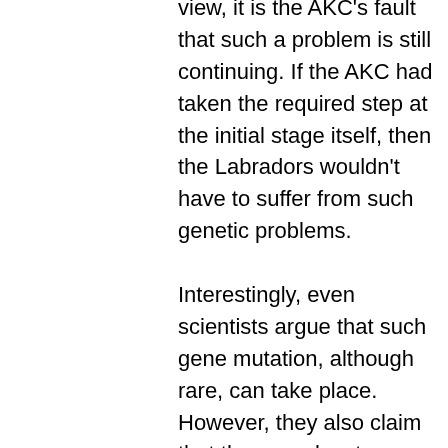view, it is the AKC's fault that such a problem is still continuing. If the AKC had taken the required step at the initial stage itself, then the Labradors wouldn't have to suffer from such genetic problems. Interestingly, even scientists argue that such gene mutation, although rare, can take place. However, they also claim that there are least chances of such gene mutation reproducing. Therefore, the theory of mutated genes is not much plausible.